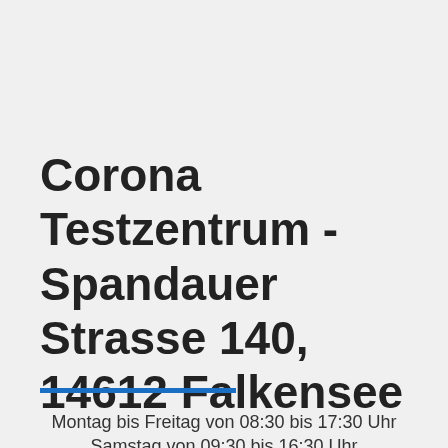Corona Testzentrum - Spandauer Strasse 140, 14612 Falkensee
Montag bis Freitag von 08:30 bis 17:30 Uhr
Samstag von 09:30 bis 16:30 Uhr